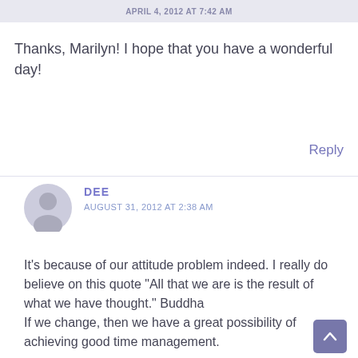APRIL 4, 2012 AT 7:42 AM
Thanks, Marilyn! I hope that you have a wonderful day!
Reply
DEE
AUGUST 31, 2012 AT 2:38 AM
It’s because of our attitude problem indeed. I really do believe on this quote “All that we are is the result of what we have thought.” Buddha
If we change, then we have a great possibility of achieving good time management.